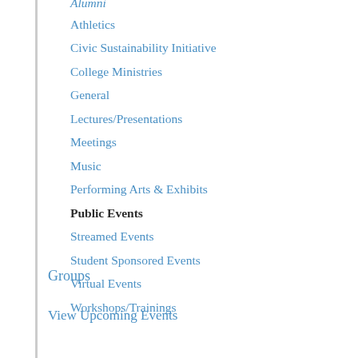Athletics
Civic Sustainability Initiative
College Ministries
General
Lectures/Presentations
Meetings
Music
Performing Arts & Exhibits
Public Events
Streamed Events
Student Sponsored Events
Virtual Events
Workshops/Trainings
Groups
View Upcoming Events